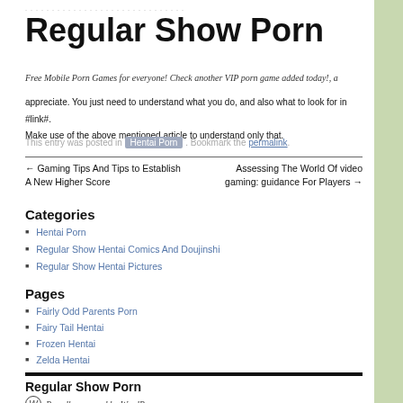Regular Show Porn
Free Mobile Porn Games for everyone! Check another VIP porn game added today!, a
appreciate. You just need to understand what you do, and also what to look for in #link#. Make use of the above mentioned article to understand only that.
This entry was posted in Hentai Porn . Bookmark the permalink.
← Gaming Tips And Tips to Establish A New Higher Score    Assessing The World Of video gaming: guidance For Players →
Categories
Hentai Porn
Regular Show Hentai Comics And Doujinshi
Regular Show Hentai Pictures
Pages
Fairly Odd Parents Porn
Fairy Tail Hentai
Frozen Hentai
Zelda Hentai
Regular Show Porn – Proudly powered by WordPress.